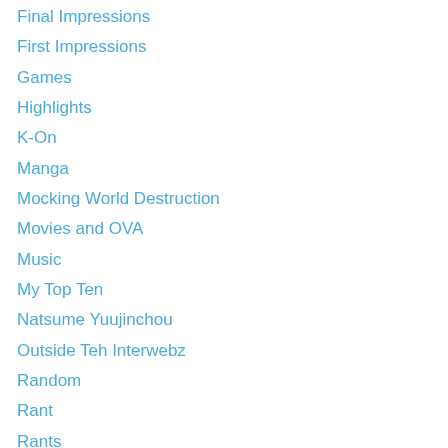Final Impressions
First Impressions
Games
Highlights
K-On
Manga
Mocking World Destruction
Movies and OVA
Music
My Top Ten
Natsume Yuujinchou
Outside Teh Interwebz
Random
Rant
Rants
Reviews
Toradora
TV
Uncategorized